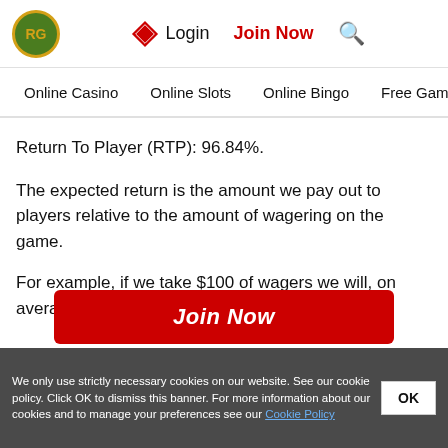RG | Virgin Casino Login | Join Now | Search
Online Casino | Online Slots | Online Bingo | Free Games
Return To Player (RTP): 96.84%.
The expected return is the amount we pay out to players relative to the amount of wagering on the game.
For example, if we take $100 of wagers we will, on average, pay out $96.84 of wins.
Join Now
We only use strictly necessary cookies on our website. See our cookie policy. Click OK to dismiss this banner. For more information about our cookies and to manage your preferences see our Cookie Policy